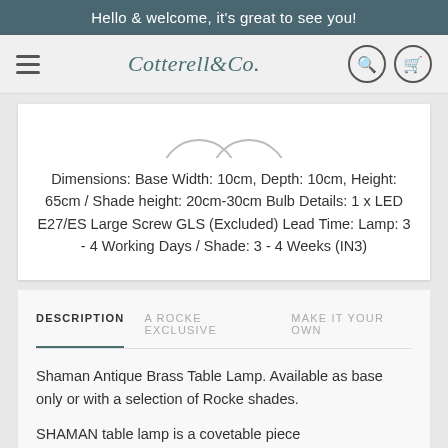Hello & welcome, it's great to see you!
[Figure (logo): Cotterell & Co. logo in teal/dark green serif italic font, with hamburger menu icon on left and search/cart icons on right]
Dimensions: Base Width: 10cm, Depth: 10cm, Height: 65cm / Shade height: 20cm-30cm Bulb Details: 1 x LED E27/ES Large Screw GLS (Excluded) Lead Time: Lamp: 3 - 4 Working Days / Shade: 3 - 4 Weeks (IN3)
DESCRIPTION
A ROCKE EXCLUSIVE
MAKE IT YOUR OWN
Shaman Antique Brass Table Lamp. Available as base only or with a selection of Rocke shades.
SHAMAN table lamp is a covetable piece